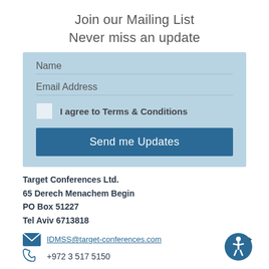Join our Mailing List
Never miss an update
[Figure (screenshot): Mailing list signup form with fields for Name, Email Address, a Terms & Conditions checkbox, and a 'Send me Updates' button on a light blue background]
Target Conferences Ltd.
65 Derech Menachem Begin
PO Box 51227
Tel Aviv 6713818
IDMSS@target-conferences.com
+972 3 517 5150